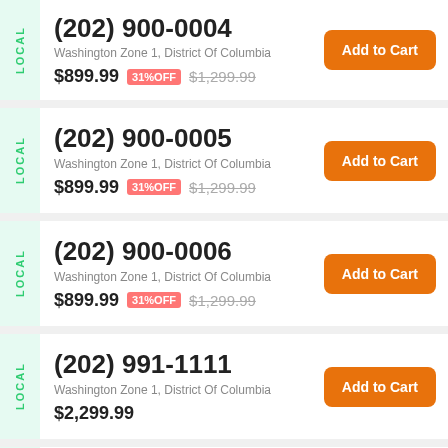(202) 900-0004 | Washington Zone 1, District Of Columbia | $899.99 | 31% OFF | $1,299.99
(202) 900-0005 | Washington Zone 1, District Of Columbia | $899.99 | 31% OFF | $1,299.99
(202) 900-0006 | Washington Zone 1, District Of Columbia | $899.99 | 31% OFF | $1,299.99
(202) 991-1111 | Washington Zone 1, District Of Columbia | $2,299.99
(202) ...